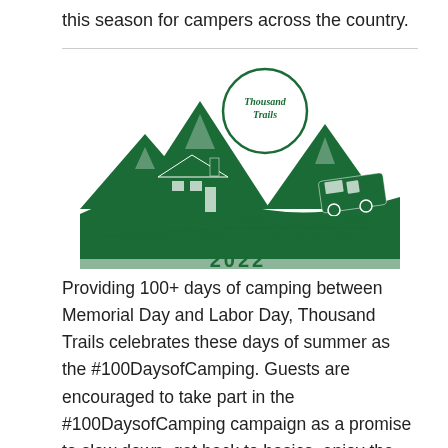this season for campers across the country.
[Figure (logo): Thousand Trails #100DaysofCamping 2022 logo — green illustration featuring mountains, a sun with 'Thousand Trails' text, a log cabin, pine trees, an RV on a road, and the text '#100DAYSOFCAMPING 2022' in large bold lettering.]
Providing 100+ days of camping between Memorial Day and Labor Day, Thousand Trails celebrates these days of summer as the #100DaysofCamping. Guests are encouraged to take part in the #100DaysofCamping campaign as a promise to slow down, get back to basics, enjoy the great outdoors, and reconnect with what matters most: Nature, friends, family,